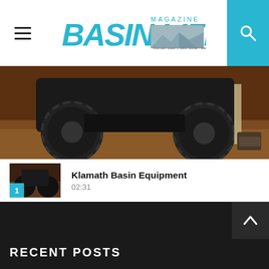Basin Life Magazine
[Figure (photo): Hero image showing underside/front of an off-road vehicle with large tires on a dirt/garage floor]
Klamath Basin Equipment
02:31
Home Instead Senior Care
06:45
MJ Art Gallery
07:57
RECENT POSTS